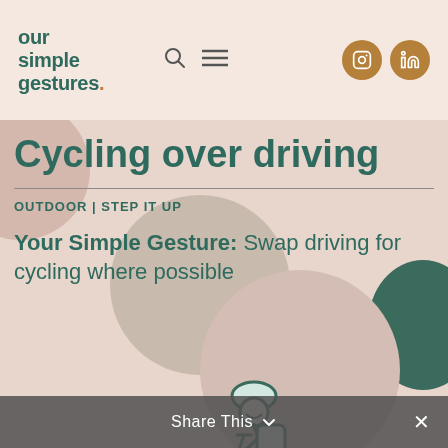our simple gestures.
Cycling over driving
OUTDOOR | STEP IT UP
Your Simple Gesture: Swap driving for cycling where possible
[Figure (illustration): Line drawing illustration of a person wearing a helmet riding a bicycle, in dark teal/green outline style]
Share This ∨  ✕